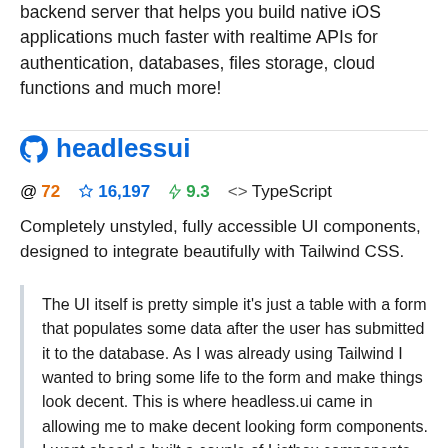backend server that helps you build native iOS applications much faster with realtime APIs for authentication, databases, files storage, cloud functions and much more!
headlessui
@ 72  ☆ 16,197  ⚡ 9.3  <> TypeScript
Completely unstyled, fully accessible UI components, designed to integrate beautifully with Tailwind CSS.
The UI itself is pretty simple it's just a table with a form that populates some data after the user has submitted it to the database. As I was already using Tailwind I wanted to bring some life to the form and make things look decent. This is where headless.ui came in allowing me to make decent looking form components. I went ahead a built a couple of Listbox components to give the form a better feel. The headless ui library was awesome to use and makes forms and other little components a joy to build. You're even able to combine certain